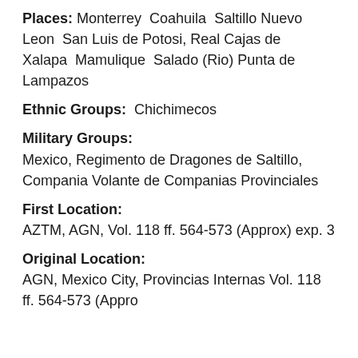Places: Monterrey  Coahuila  Saltillo Nuevo Leon  San Luis de Potosi, Real Cajas de Xalapa  Mamulique  Salado (Rio) Punta de Lampazos
Ethnic Groups: Chichimecos
Military Groups: Mexico, Regimiento de Dragones de Saltillo, Compania Volante de Companias Provinciales
First Location: AZTM, AGN, Vol. 118 ff. 564-573 (Approx) exp. 3
Original Location: AGN, Mexico City, Provincias Internas Vol. 118 ff. 564-573 (Appro